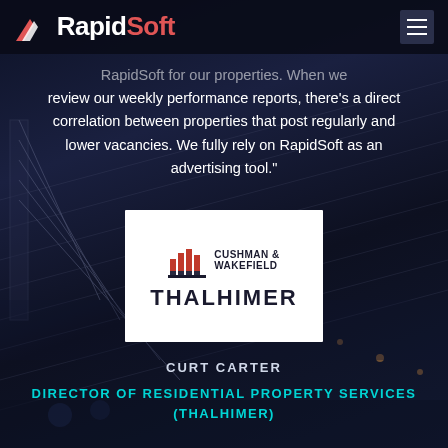RapidSoft
RapidSoft for our properties. When we review our weekly performance reports, there's a direct correlation between properties that post regularly and lower vacancies. We fully rely on RapidSoft as an advertising tool."
[Figure (logo): Cushman & Wakefield Thalhimer logo on white background]
CURT CARTER
DIRECTOR OF RESIDENTIAL PROPERTY SERVICES (THALHIMER)